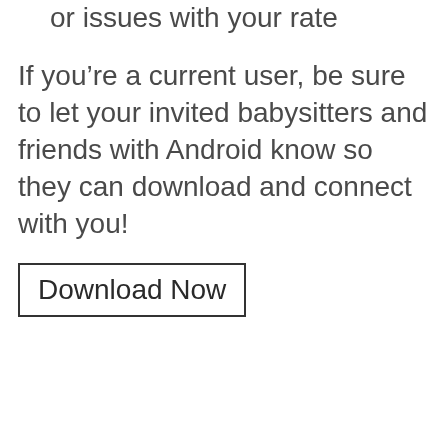or issues with your rate
If you’re a current user, be sure to let your invited babysitters and friends with Android know so they can download and connect with you!
Download Now